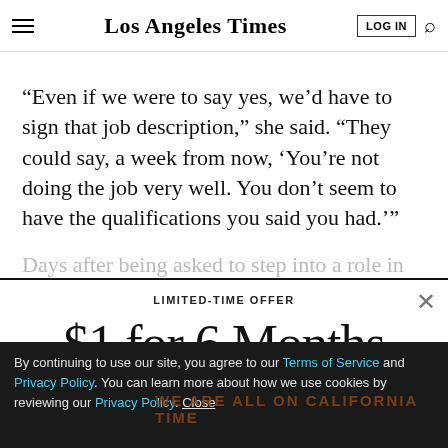Los Angeles Times
'Even if we were to say yes, we'd have to sign that job description,' she said. 'They could say, a week from now, 'You're not doing the job very well. You don't seem to have the qualifications you said you had.''
Days after being asked to step into a role in which she...
$1 for 6 Months
LIMITED-TIME OFFER
SUBSCRIBE NOW
By continuing to use our site, you agree to our Terms of Service and Privacy Policy. You can learn more about how we use cookies by reviewing our Privacy Policy. Close